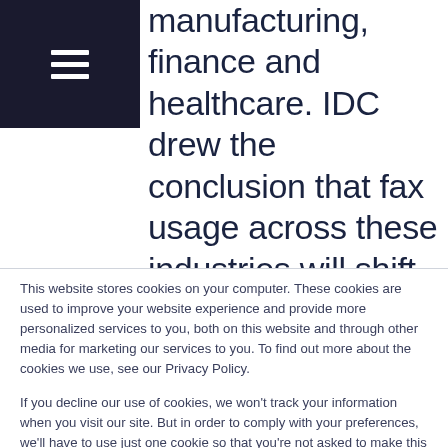manufacturing, finance and healthcare. IDC drew the conclusion that fax usage across these industries will shift
This website stores cookies on your computer. These cookies are used to improve your website experience and provide more personalized services to you, both on this website and through other media for marketing our services to you. To find out more about the cookies we use, see our Privacy Policy.

If you decline our use of cookies, we won't track your information when you visit our site. But in order to comply with your preferences, we'll have to use just one cookie so that you're not asked to make this choice again. Do not use this website if you object to our use of any cookies. By continuing to navigate this website without declining cookies, or without expressly clicking on "Agree", you are accepting our use of them.